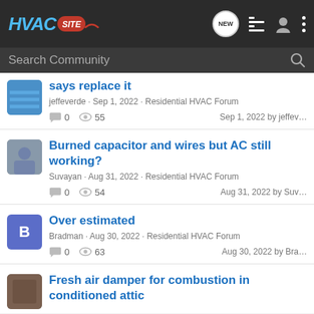HVAC SITE
Search Community
says replace it
jeffeverde · Sep 1, 2022 · Residential HVAC Forum
0 comments  55 views  Sep 1, 2022 by jeffev...
Burned capacitor and wires but AC still working?
Suvayan · Aug 31, 2022 · Residential HVAC Forum
0 comments  54 views  Aug 31, 2022 by Suv...
Over estimated
Bradman · Aug 30, 2022 · Residential HVAC Forum
0 comments  63 views  Aug 30, 2022 by Bra...
Fresh air damper for combustion in conditioned attic